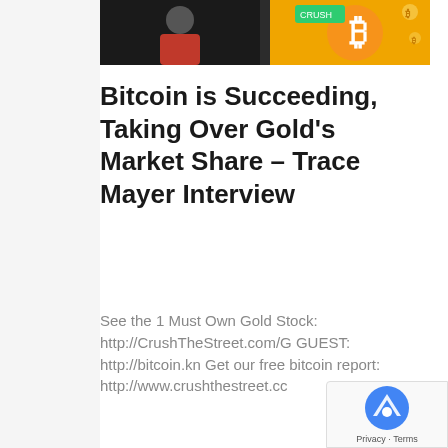[Figure (photo): Thumbnail image showing a man in a dark suit with Bitcoin logo overlay and CrushTheStreet branding]
Bitcoin is Succeeding, Taking Over Gold's Market Share – Trace Mayer Interview
See the 1 Must Own Gold Stock: http://CrushTheStreet.com/G GUEST: http://bitcoin.kn Get our free bitcoin report: http://www.crushthestreet.cc